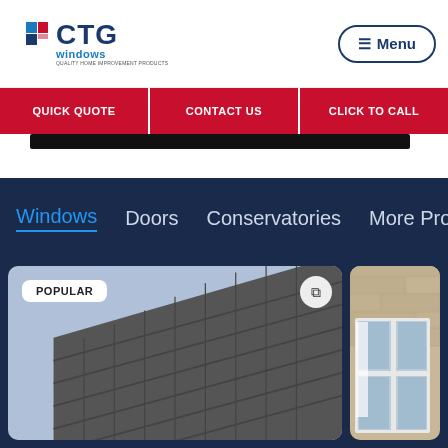[Figure (logo): CTG Windows logo with blue/red icon squares and company name]
☰ Menu
QUICK QUOTE
CONTACT US
CLICK TO CALL
Windows   Doors   Conservatories   More Produ
[Figure (photo): House with tiled roof and red brick wall. POPULAR badge in top left, expand icon in top right.]
[Figure (photo): Stone building with white uPVC windows partially visible on right side.]